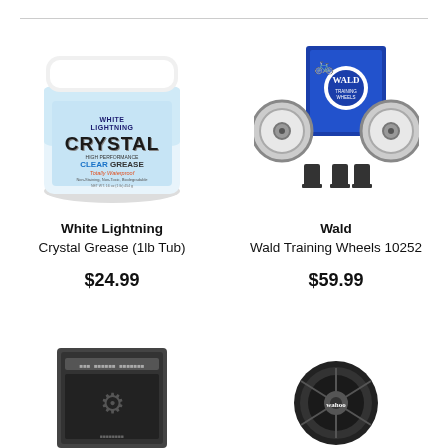[Figure (photo): White Lightning Crystal Grease 1lb tub product photo]
White Lightning
Crystal Grease (1lb Tub)
$24.99
[Figure (photo): Wald Training Wheels 10252 product photo]
Wald
Wald Training Wheels 10252
$59.99
[Figure (photo): Product photo bottom left - partially visible]
[Figure (photo): Wahoo product photo bottom right - partially visible]